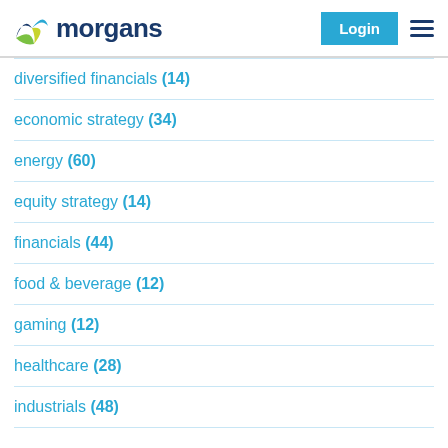morgans | Login
diversified financials (14)
economic strategy (34)
energy (60)
equity strategy (14)
financials (44)
food & beverage (12)
gaming (12)
healthcare (28)
industrials (48)